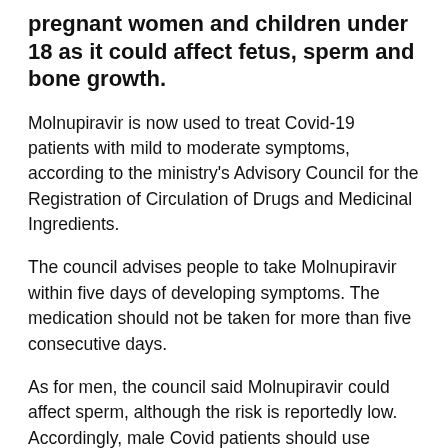pregnant women and children under 18 as it could affect fetus, sperm and bone growth.
Molnupiravir is now used to treat Covid-19 patients with mild to moderate symptoms, according to the ministry's Advisory Council for the Registration of Circulation of Drugs and Medicinal Ingredients.
The council advises people to take Molnupiravir within five days of developing symptoms. The medication should not be taken for more than five consecutive days.
As for men, the council said Molnupiravir could affect sperm, although the risk is reportedly low. Accordingly, male Covid patients should use reliable contraception while taking Molnupiravir and at least three months after the last dose.
For women who are pregnant or breastfeeding,